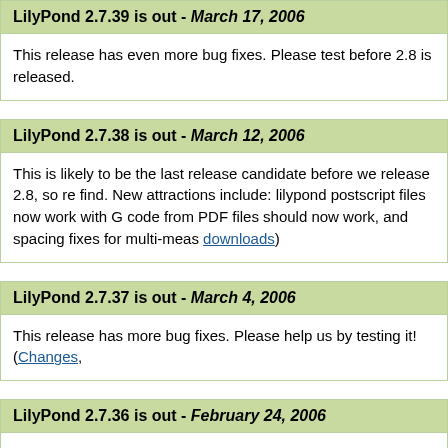LilyPond 2.7.39 is out - March 17, 2006
This release has even more bug fixes. Please test before 2.8 is released.
LilyPond 2.7.38 is out - March 12, 2006
This is likely to be the last release candidate before we release 2.8, so re find. New attractions include: lilypond postscript files now work with G code from PDF files should now work, and spacing fixes for multi-meas downloads)
LilyPond 2.7.37 is out - March 4, 2006
This release has more bug fixes. Please help us by testing it! (Changes,
LilyPond 2.7.36 is out - February 24, 2006
This is another release candidate for 2.8. It has lots of bug fixes and poli also contains support for creating ties that are only on their right side co is handy for repeats (feature sponsored by Steve Doonan). The documer